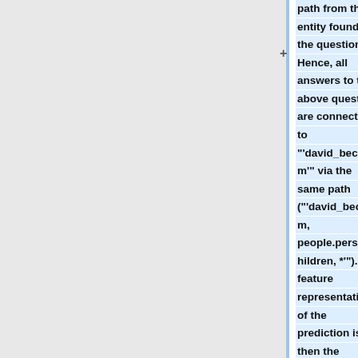path from the entity found in the question. Hence, all answers to the above question are connected to "'david_beckham'" via the same path ("'david_beckham, people.person.children, *'"). The feature representation of the prediction is then the average over each candidate entity's